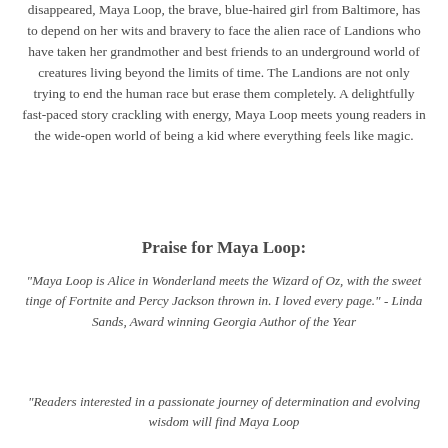disappeared, Maya Loop, the brave, blue-haired girl from Baltimore, has to depend on her wits and bravery to face the alien race of Landions who have taken her grandmother and best friends to an underground world of creatures living beyond the limits of time. The Landions are not only trying to end the human race but erase them completely. A delightfully fast-paced story crackling with energy, Maya Loop meets young readers in the wide-open world of being a kid where everything feels like magic.
Praise for Maya Loop:
"Maya Loop is Alice in Wonderland meets the Wizard of Oz, with the sweet tinge of Fortnite and Percy Jackson thrown in. I loved every page." - Linda Sands, Award winning Georgia Author of the Year
"Readers interested in a passionate journey of determination and evolving wisdom will find Maya Loop